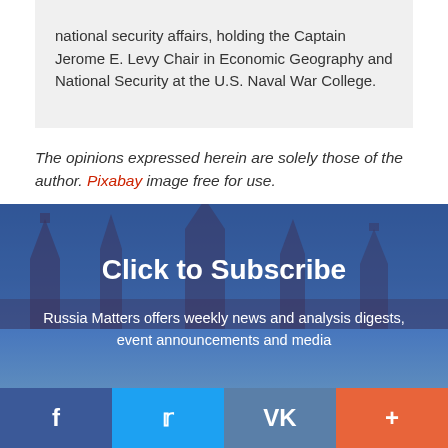national security affairs, holding the Captain Jerome E. Levy Chair in Economic Geography and National Security at the U.S. Naval War College.
The opinions expressed herein are solely those of the author. Pixabay image free for use.
[Figure (photo): Subscribe banner with Kremlin towers silhouette background, dark blue overlay, showing 'Click to Subscribe' heading and Russia Matters description text]
Russia Matters offers weekly news and analysis digests, event announcements and media
f  Twitter  VK  +